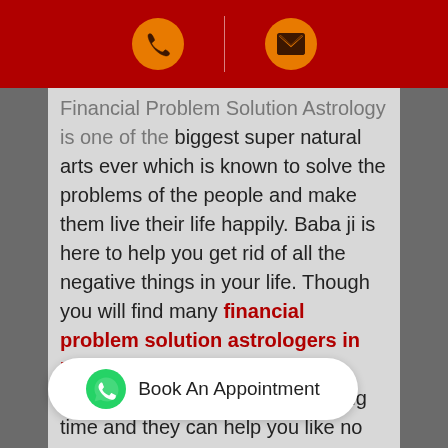Header bar with phone icon and email icon
Financial Problem Solution Astrology is one of the biggest super natural arts ever which is known to solve the problems of the people and make them live their life happily. Baba ji is here to help you get rid of all the negative things in your life. Though you will find many financial problem solution astrologers in USA, Astrologer Rajeshbhai ji is working in this field for quite a long time and they can help you like no other. He can give you customized mantras and spells to solve your problems as soon as possible. Once you meet our financial problem solution astrologer Rajeshbhai ...lly become less ...able to live happily.
[Figure (other): Book An Appointment WhatsApp button]